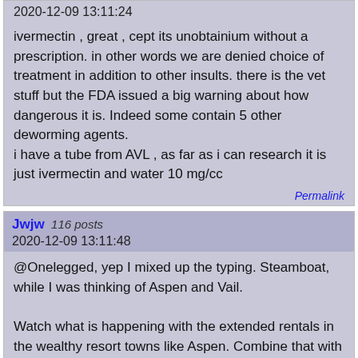2020-12-09 13:11:24
ivermectin , great , cept its unobtainium without a prescription. in other words we are denied choice of treatment in addition to other insults. there is the vet stuff but the FDA issued a big warning about how dangerous it is. Indeed some contain 5 other deworming agents.
i have a tube from AVL , as far as i can research it is just ivermectin and water 10 mg/cc
Permalink
Jwjw 116 posts
2020-12-09 13:11:48
@Onelegged, yep I mixed up the typing. Steamboat, while I was thinking of Aspen and Vail.

Watch what is happening with the extended rentals in the wealthy resort towns like Aspen. Combine that with the increased use of private air charters, and we can see the future: Fly private with your group of six to ten people and have the 3 or 4 week rental ready to go in case of quarantine. This keeps the masses of vacationers out. The wealthy folks can dig this. Though local workers still need to be kept around to clean the